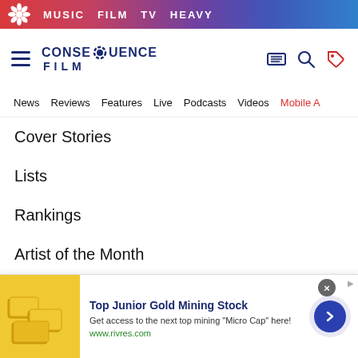MUSIC  FILM  TV  HEAVY
[Figure (logo): Consequence Film logo with gear icon and text CONSEQUENCE FILM]
News  Reviews  Features  Live  Podcasts  Videos  Mobile A
Cover Stories
Lists
Rankings
Artist of the Month
Song of the Week
Live
Concert Tickets
[Figure (other): Advertisement banner: Top Junior Gold Mining Stock. Get access to the next top mining Micro Cap here! www.rivres.com]